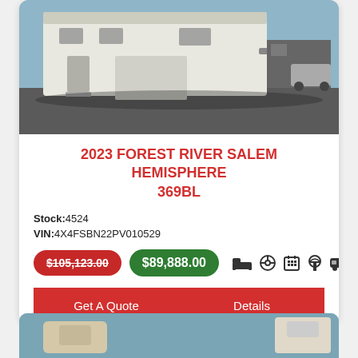[Figure (photo): Exterior photo of a large fifth-wheel RV/travel trailer in a dealer lot, white body, parked on asphalt]
2023 FOREST RIVER SALEM HEMISPHERE 369BL
Stock:4524
VIN:4X4FSBN22PV010529
$105,123.00 $89,888.00
Get A Quote | Details
[Figure (photo): Bottom partial photo of another RV interior or exterior, partially visible at bottom of page]